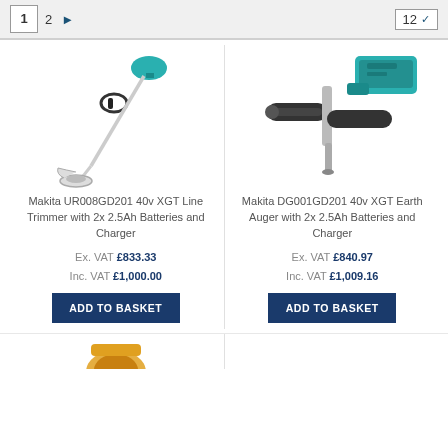Page 1  2  ▶   12
[Figure (photo): Makita UR008GD201 40v XGT Line Trimmer with long shaft and circular trimmer head]
Makita UR008GD201 40v XGT Line Trimmer with 2x 2.5Ah Batteries and Charger
Ex. VAT £833.33
Inc. VAT £1,000.00
ADD TO BASKET
[Figure (photo): Makita DG001GD201 40v XGT Earth Auger with drill bit and two handles]
Makita DG001GD201 40v XGT Earth Auger with 2x 2.5Ah Batteries and Charger
Ex. VAT £840.97
Inc. VAT £1,009.16
ADD TO BASKET
[Figure (photo): Partial product image at bottom of page — appears to be another Makita tool (partially visible)]